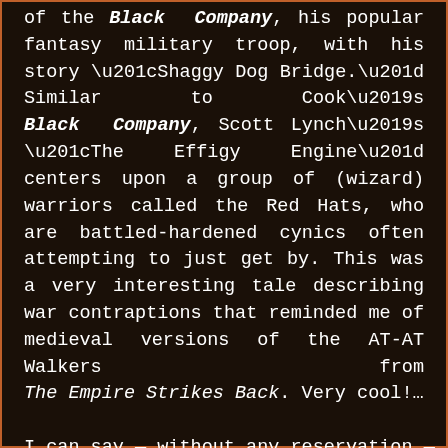of the Black Company, his popular fantasy military troop, with his story “Shaggy Dog Bridge.” Similar to Cook’s Black Company, Scott Lynch’s “The Effigy Engine” centers upon a group of (wizard) warriors called the Red Hats, who are battled-hardened cynics often attempting to just get by. This was a very interesting tale describing war contraptions that reminded me of medieval versions of the AT-AT Walkers from The Empire Strikes Back. Very cool!…
I can say — without any reservation —